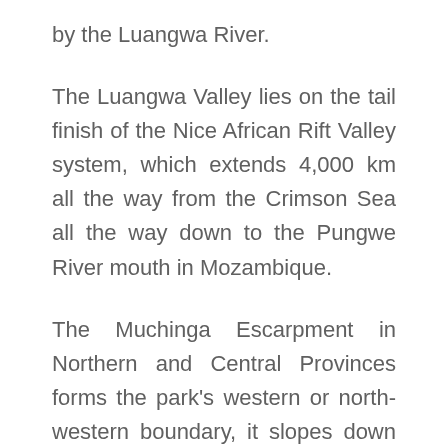by the Luangwa River.
The Luangwa Valley lies on the tail finish of the Nice African Rift Valley system, which extends 4,000 km all the way from the Crimson Sea all the way down to the Pungwe River mouth in Mozambique.
The Muchinga Escarpment in Northern and Central Provinces forms the park's western or north-western boundary, it slopes down from there to the river, mendacity totally on its western financial institution.